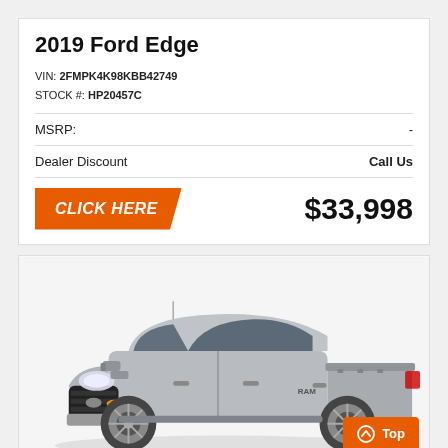2019 Ford Edge
VIN: 2FMPK4K98KBB42749
STOCK #: HP20457C
MSRP: -
Dealer Discount   Call Us
CLICK HERE   $33,998
[Figure (photo): Silver pickup truck (Ram 1500 style) photographed from a front three-quarter angle on a white/light grey background. The truck is silver/grey in color with prominent grille, headlights, and alloy wheels.]
Top